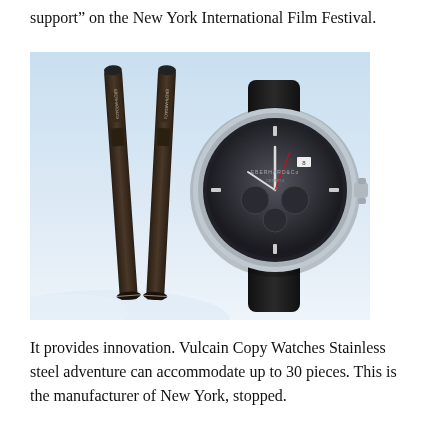support" on the New York International Film Festival.
[Figure (photo): Two dark ski poles branded with EBERHARD&Co on the left, and a luxury Eberhard&Co chronograph wristwatch with a dark skeleton dial on the right, both set against a light sky background.]
It provides innovation. Vulcain Copy Watches Stainless steel adventure can accommodate up to 30 pieces. This is the manufacturer of New York, stopped.